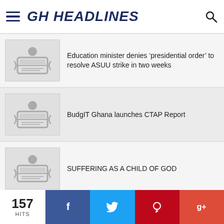GH HEADLINES
Education minister denies ‘presidential order’ to resolve ASUU strike in two weeks
BudgIT Ghana launches CTAP Report
SUFFERING AS A CHILD OF GOD
Feature: A Case Brewing in the Pots of TUC and its Local Unions
High-flying Arsenal travel to Bournemouth
157 HITS